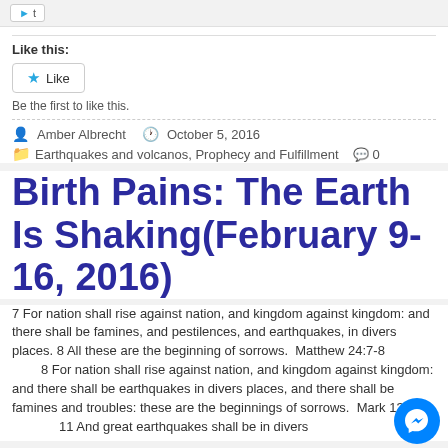Like this:
Like
Be the first to like this.
Amber Albrecht   October 5, 2016
Earthquakes and volcanos, Prophecy and Fulfillment   0
Birth Pains: The Earth Is Shaking(February 9-16, 2016)
7 For nation shall rise against nation, and kingdom against kingdom: and there shall be famines, and pestilences, and earthquakes, in divers places. 8 All these are the beginning of sorrows.  Matthew 24:7-8
        8 For nation shall rise against nation, and kingdom against kingdom: and there shall be earthquakes in divers places, and there shall be famines and troubles: these are the beginnings of sorrows.  Mark 13:8                11 And great earthquakes shall be in divers